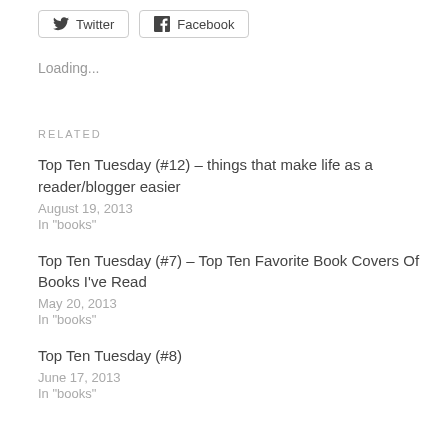[Figure (other): Social share buttons: Twitter and Facebook]
Loading...
RELATED
Top Ten Tuesday (#12) – things that make life as a reader/blogger easier
August 19, 2013
In "books"
Top Ten Tuesday (#7) – Top Ten Favorite Book Covers Of Books I've Read
May 20, 2013
In "books"
Top Ten Tuesday (#8)
June 17, 2013
In "books"